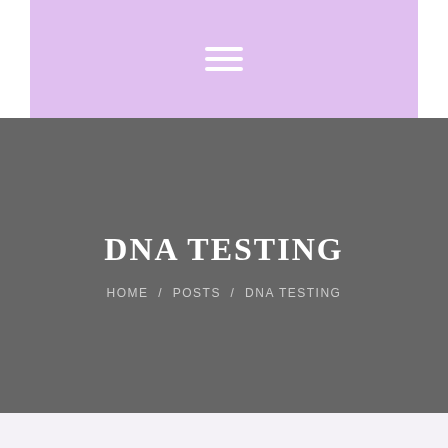☰
DNA TESTING
HOME / POSTS / DNA TESTING